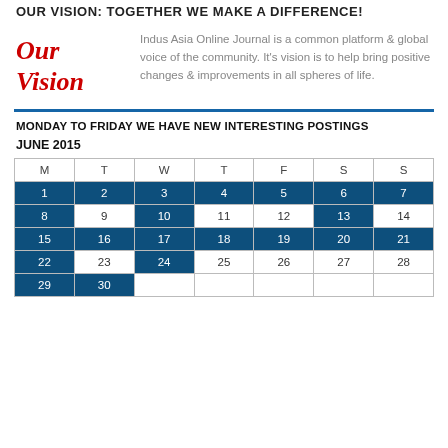OUR VISION: TOGETHER WE MAKE A DIFFERENCE!
[Figure (other): Our Vision logo in red italic script]
Indus Asia Online Journal is a common platform & global voice of the community. It's vision is to help bring positive changes & improvements in all spheres of life.
MONDAY TO FRIDAY WE HAVE NEW INTERESTING POSTINGS
JUNE 2015
| M | T | W | T | F | S | S |
| --- | --- | --- | --- | --- | --- | --- |
| 1 | 2 | 3 | 4 | 5 | 6 | 7 |
| 8 | 9 | 10 | 11 | 12 | 13 | 14 |
| 15 | 16 | 17 | 18 | 19 | 20 | 21 |
| 22 | 23 | 24 | 25 | 26 | 27 | 28 |
| 29 | 30 |  |  |  |  |  |